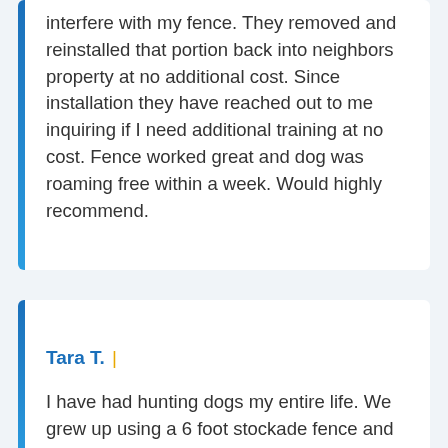interfere with my fence. They removed and reinstalled that portion back into neighbors property at no additional cost. Since installation they have reached out to me inquiring if I need additional training at no cost. Fence worked great and dog was roaming free within a week. Would highly recommend.
Tara T. |
I have had hunting dogs my entire life. We grew up using a 6 foot stockade fence and